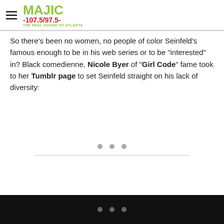MAJIC 107.5/97.5 - THE REAL SOUND OF ATLANTA
So there's been no women, no people of color Seinfeld's famous enough to be in his web series or to be "interested" in? Black comedienne, Nicole Byer of "Girl Code" fame took to her Tumblr page to set Seinfeld straight on his lack of diversity:
[Figure (other): Loading spinner area with three grey dots and a horizontal divider line]
[Figure (other): Black bottom navigation bar with three grey dots]